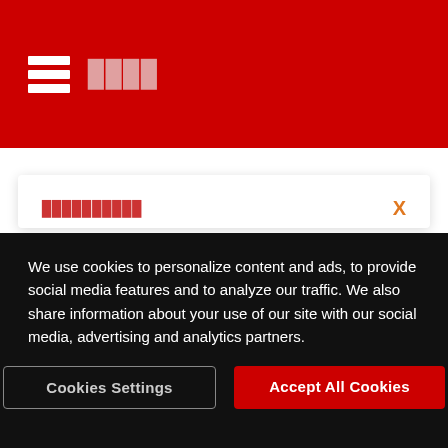≡ ████
██████████
English  ██
Deutsch  ███
Português  ☐ ██████
██████████████
We use cookies to personalize content and ads, to provide social media features and to analyze our traffic. We also share information about your use of our site with our social media, advertising and analytics partners.
Cookies Settings  Accept All Cookies